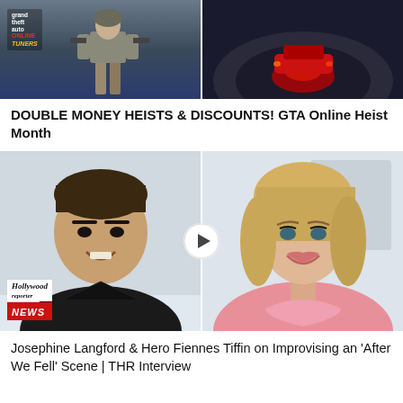[Figure (screenshot): Thumbnail image split in two: left side shows a GTA Online character (soldier/SWAT figure) with Grand Theft Auto Online Tuners logo overlay; right side shows a dark scene with red car glow on a circular track]
DOUBLE MONEY HEISTS & DISCOUNTS! GTA Online Heist Month
[Figure (photo): Split thumbnail: left side shows a young male (Hero Fiennes Tiffin) smiling, wearing black, with The Hollywood Reporter NEWS badge overlay; right side shows a young blonde female (Josephine Langford) smiling, wearing pink satin. A circular play button is centered between the two halves.]
Josephine Langford & Hero Fiennes Tiffin on Improvising an 'After We Fell' Scene | THR Interview